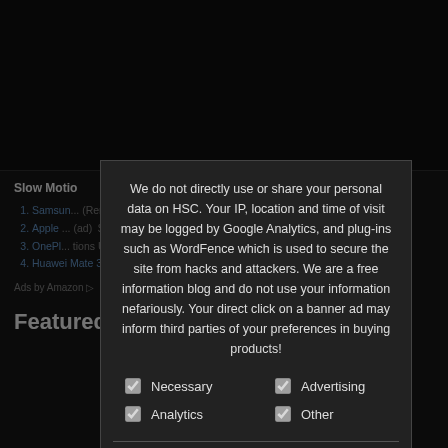[Figure (screenshot): Dark background website page with a cookie/privacy consent modal overlay. The modal contains a privacy notice text, checkboxes for Necessary, Advertising, Analytics, Other, a Privacy Preferences link, and an I Agree button. Behind the modal, a list of smartphone products is partially visible along with a 'Slow Motion' section header, list items with product names and prices, 'Ads by Amazon' line, and 'Featured Review' heading.]